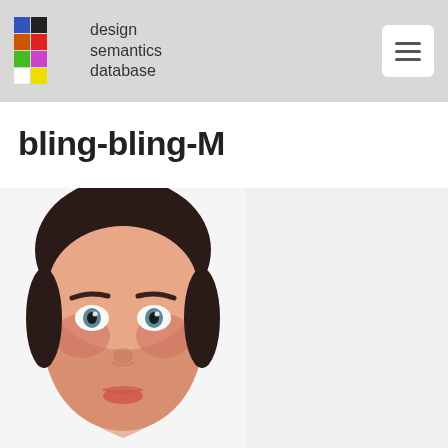design semantics database
bling-bling-M
[Figure (illustration): 3D rendered face of a female avatar with wide open blue eyes, dark eyebrows, red lips, and dark hair, showing a surprised expression. Next to it is a light gray rectangular panel.]